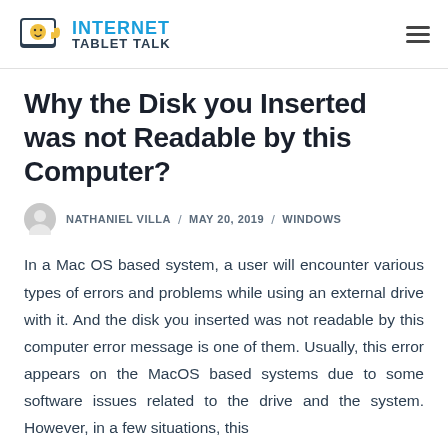INTERNET TABLET TALK
Why the Disk you Inserted was not Readable by this Computer?
NATHANIEL VILLA / MAY 20, 2019 / WINDOWS
In a Mac OS based system, a user will encounter various types of errors and problems while using an external drive with it. And the disk you inserted was not readable by this computer error message is one of them. Usually, this error appears on the MacOS based systems due to some software issues related to the drive and the system. However, in a few situations, this